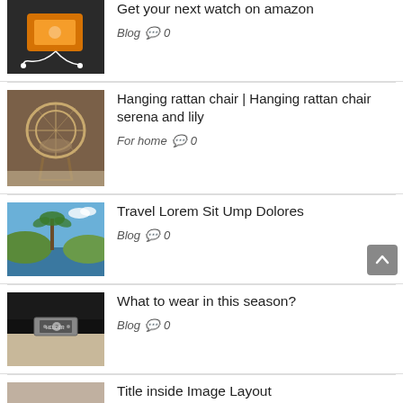[Figure (photo): Phone with earbuds on dark surface]
Get your next watch on amazon
Blog  💬 0
[Figure (photo): Hanging rattan chair in room]
Hanging rattan chair | Hanging rattan chair serena and lily
For home  💬 0
[Figure (photo): Tropical coastal scene with palm trees]
Travel Lorem Sit Ump Dolores
Blog  💬 0
[Figure (photo): Belt buckle close-up on clothing]
What to wear in this season?
Blog  💬 0
[Figure (photo): Partial image, person with watch]
Title inside Image Layout